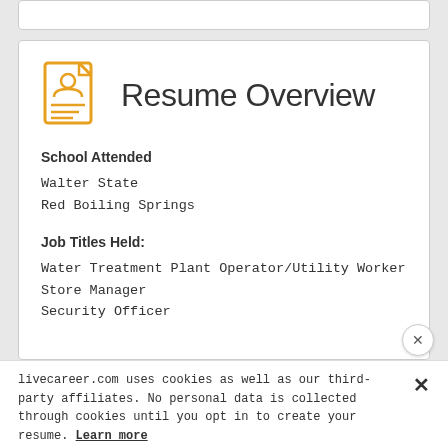Resume Overview
School Attended
Walter State
Red Boiling Springs
Job Titles Held:
Water Treatment Plant Operator/Utility Worker
Store Manager
Security Officer
livecareer.com uses cookies as well as our third-party affiliates. No personal data is collected through cookies until you opt in to create your resume. Learn more